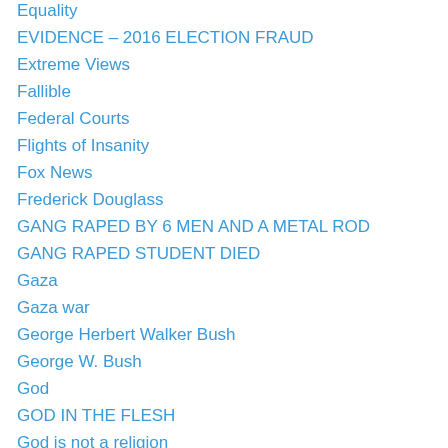Equality
EVIDENCE – 2016 ELECTION FRAUD
Extreme Views
Fallible
Federal Courts
Flights of Insanity
Fox News
Frederick Douglass
GANG RAPED BY 6 MEN AND A METAL ROD
GANG RAPED STUDENT DIED
Gaza
Gaza war
George Herbert Walker Bush
George W. Bush
God
GOD IN THE FLESH
God is not a religion
GOD'S GRACE
God's love
God's Spirit